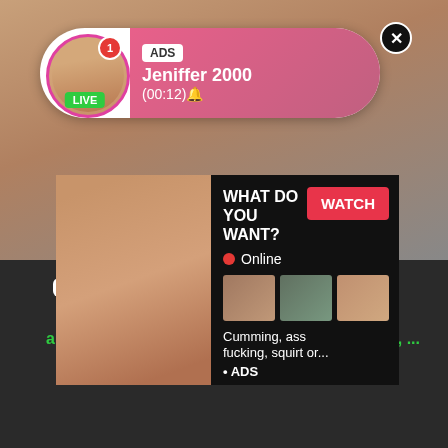[Figure (screenshot): Adult website screenshot with overlaid advertisements. Background shows adult content. Top notification-style ad bubble shows 'ADS Jeniffer 2000 (00:12)' with LIVE badge and close button. Main overlay ad shows adult imagery with 'WHAT DO YOU WANT? WATCH' button, Online status indicator, three thumbnail images, text 'Cumming, ass fucking, squirt or...' and '• ADS' label.]